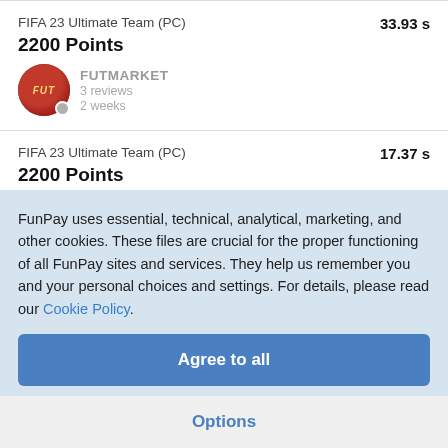FIFA 23 Ultimate Team (PC)
33.93 s
2200 Points
FUTMARKET
3 reviews
2 weeks
FIFA 23 Ultimate Team (PC)
17.37 s
2200 Points
FUTMARKET
3 reviews
2 weeks
FunPay uses essential, technical, analytical, marketing, and other cookies. These files are crucial for the proper functioning of all FunPay sites and services. They help us remember you and your personal choices and settings. For details, please read our Cookie Policy.
Agree to all
Options